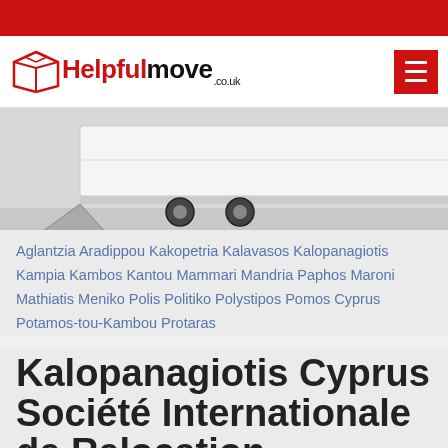[Figure (logo): Helpfulmove.co.uk logo with red box icon and text]
[Figure (photo): Partial view of a white moving truck on a grey background]
Aglantzia Aradippou Kakopetria Kalavasos Kalopanagiotis Kampia Kambos Kantou Mammari Mandria Paphos Maroni Mathiatis Meniko Polis Politiko Polystipos Pomos Cyprus Potamos-tou-Kambou Protaras
Kalopanagiotis Cyprus Société Internationale de Relocation